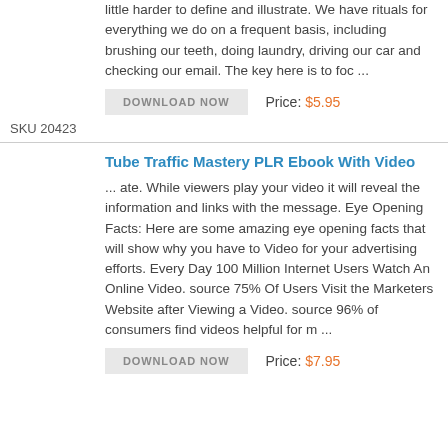little harder to define and illustrate. We have rituals for everything we do on a frequent basis, including brushing our teeth, doing laundry, driving our car and checking our email. The key here is to foc ...
DOWNLOAD NOW   Price: $5.95
SKU 20423
Tube Traffic Mastery PLR Ebook With Video
... ate. While viewers play your video it will reveal the information and links with the message. Eye Opening Facts: Here are some amazing eye opening facts that will show why you have to Video for your advertising efforts. Every Day 100 Million Internet Users Watch An Online Video. source 75% Of Users Visit the Marketers Website after Viewing a Video. source 96% of consumers find videos helpful for m ...
DOWNLOAD NOW   Price: $7.95